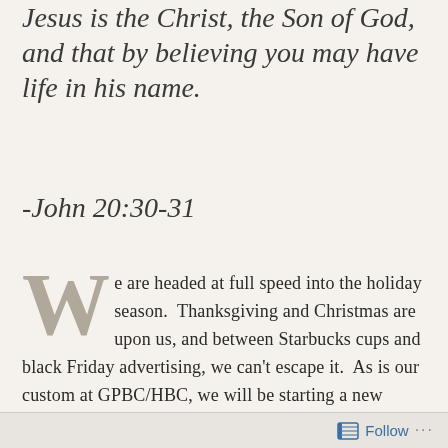Jesus is the Christ, the Son of God, and that by believing you may have life in his name.
-John 20:30-31
We are headed at full speed into the holiday season. Thanksgiving and Christmas are upon us, and between Starbucks cups and black Friday advertising, we can't escape it. As is our custom at GPBC/HBC, we will be starting a new sermon series that focuses on passages from the Bible that relate to the first advent of Jesus. This season our text will be the gospel of John 1:1-18.
Follow